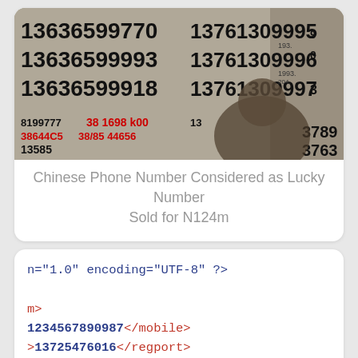[Figure (photo): A photograph showing a wall or board covered with large handwritten Chinese phone numbers in black ink, with a person partially visible in the foreground.]
Chinese Phone Number Considered as Lucky Number Sold for N124m
n="1.0" encoding="UTF-8" ?>

m>
1234567890987</mobile>
>13725476016</regport>
>15918757568,15989008901,13760775621</ac
ime</mode>
,</cycle>
port>1062,1065,1066</pbsendport>
port>10623450</pbpassport>